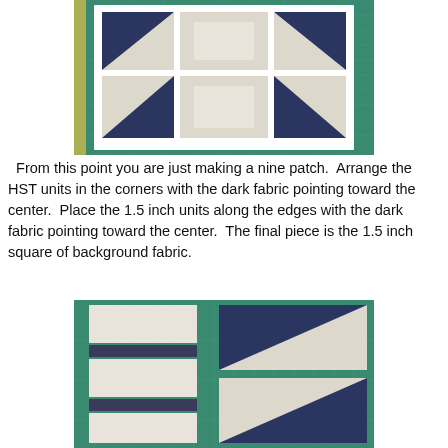[Figure (photo): Photo of quilt block units arranged on a green cutting mat showing navy and cream half-square triangle units forming a pattern.]
From this point you are just making a nine patch.  Arrange the HST units in the corners with the dark fabric pointing toward the center.  Place the 1.5 inch units along the edges with the dark fabric pointing toward the center.  The final piece is the 1.5 inch square of background fabric.
[Figure (photo): Photo of individual quilt block pieces laid out on a green cutting mat, showing cream and navy fabric squares and half-square triangle units arranged in rows before assembly.]